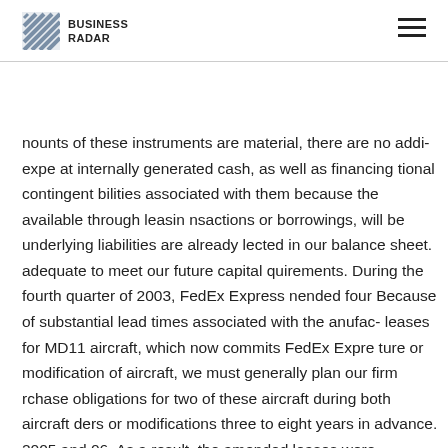BUSINESS RADAR
nounts of these instruments are material, there are no addi- expe at internally generated cash, as well as financing tional contingent bilities associated with them because the available through leasin nsactions or borrowings, will be underlying liabilities are already lected in our balance sheet. adequate to meet our future capital quirements. During the fourth quarter of 2003, FedEx Express nended four Because of substantial lead times associated with the anufac- leases for MD11 aircraft, which now commits FedEx Expre ture or modification of aircraft, we must generally plan our firm rchase obligations for two of these aircraft during both aircraft ders or modifications three to eight years in advance. 2005 and 06. As a result, the amended leases were accounted Therefore, we ust make commitments regarding our airlift for as capital leases, hich added $221 million to both long-term requirements many ars before aircraft are actually needed. assets and long-term bilities. We are closely managing our capital spending based on